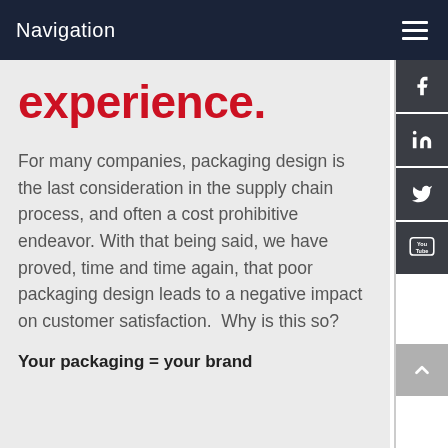Navigation
experience.
For many companies, packaging design is the last consideration in the supply chain process, and often a cost prohibitive endeavor. With that being said, we have proved, time and time again, that poor packaging design leads to a negative impact on customer satisfaction.  Why is this so?
Your packaging = your brand